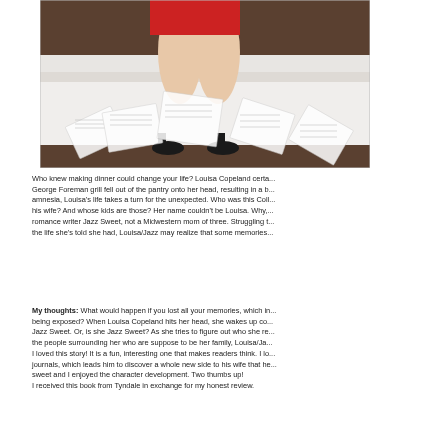[Figure (photo): Woman in red dress sitting on white surface with papers scattered around her feet, wearing black heels]
Who knew making dinner could change your life? Louisa Copeland certa... George Foreman grill fell out of the pantry onto her head, resulting in a b... amnesia, Louisa's life takes a turn for the unexpected. Who was this Coll... his wife? And whose kids are those? Her name couldn't be Louisa. Why,... romance writer Jazz Sweet, not a Midwestern mom of three. Struggling t... the life she's told she had, Louisa/Jazz may realize that some memories...
My thoughts: What would happen if you lost all your memories, which in... being exposed? When Louisa Copeland hits her head, she wakes up co... Jazz Sweet. Or, is she Jazz Sweet? As she tries to figure out who she re... the people surrounding her who are suppose to be her family, Louisa/Ja... I loved this story! It is a fun, interesting one that makes readers think. I lo... journals, which leads him to discover a whole new side to his wife that he... sweet and I enjoyed the character development. Two thumbs up!
I received this book from Tyndale in exchange for my honest review.